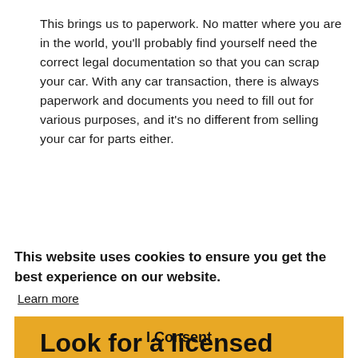This brings us to paperwork. No matter where you are in the world, you'll probably find yourself need the correct legal documentation so that you can scrap your car. With any car transaction, there is always paperwork and documents you need to fill out for various purposes, and it's no different from selling your car for parts either.
This website uses cookies to ensure you get the best experience on our website.
Learn more
I Consent
Look for a licensed